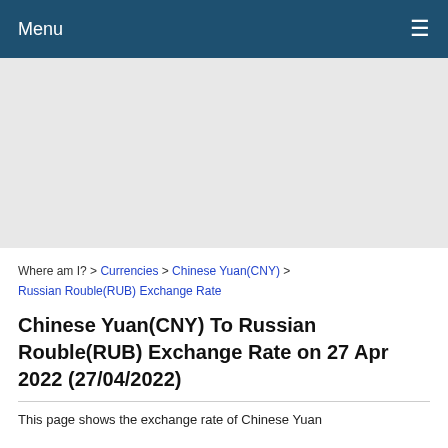Menu ☰
[Figure (other): Advertisement placeholder area, light gray background]
Where am I? > Currencies > Chinese Yuan(CNY) > Russian Rouble(RUB) Exchange Rate
Chinese Yuan(CNY) To Russian Rouble(RUB) Exchange Rate on 27 Apr 2022 (27/04/2022)
This page shows the exchange rate of Chinese Yuan...